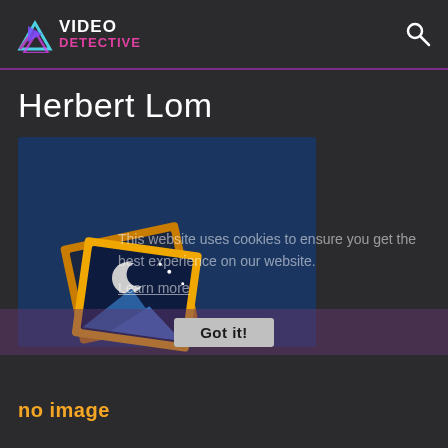[Figure (logo): Video Detective logo with colorful triangle/play icon and search icon on dark header bar]
Herbert Lom
[Figure (screenshot): Profile image placeholder card with dark blue background showing a 'no image' icon (stacked photo frames with moon/mountain scene). Cookie consent overlay reading 'This website uses cookies to ensure you get the best experience on our website. Learn more' with a 'Got it!' button. Below: 'no image' text in orange.]